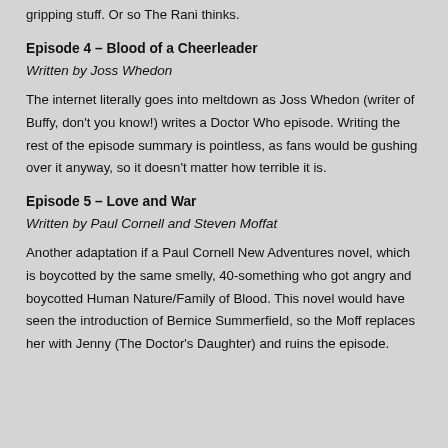gripping stuff.  Or so The Rani thinks.
Episode 4 – Blood of a Cheerleader
Written by Joss Whedon
The internet literally goes into meltdown as Joss Whedon (writer of Buffy, don't you know!) writes a Doctor Who episode.  Writing the rest of the episode summary is pointless, as fans would be gushing over it anyway, so it doesn't matter how terrible it is.
Episode 5 – Love and War
Written by Paul Cornell and Steven Moffat
Another adaptation if a Paul Cornell New Adventures novel, which is boycotted by the same smelly, 40-something who got angry and boycotted Human Nature/Family of Blood.  This novel would have seen the introduction of Bernice Summerfield, so the Moff replaces her with Jenny (The Doctor's Daughter) and ruins the episode.